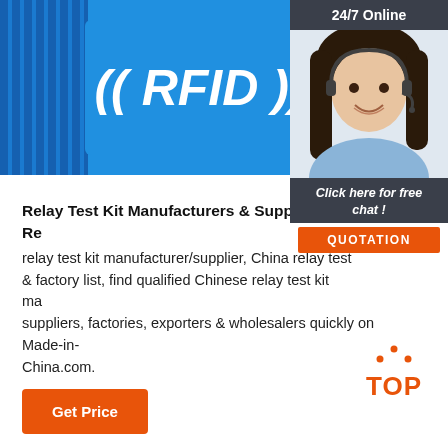[Figure (photo): Blue RFID wristband/bracelet with white RFID text and signal wave symbols, on a white background. A ribbed blue strap visible on left and right sides.]
[Figure (photo): Customer service chat widget showing a smiling woman with headset and dark hair, with '24/7 Online' header, 'Click here for free chat!' text, and an orange QUOTATION button.]
Relay Test Kit Manufacturers & Suppliers, China Relay Test Kit relay test kit manufacturer/supplier, China relay test kit manufacturer & factory list, find qualified Chinese relay test kit manufacturers, suppliers, factories, exporters & wholesalers quickly on Made-in-China.com.
[Figure (other): Orange TOP button with upward-pointing arrow dots above the word TOP]
Get Price